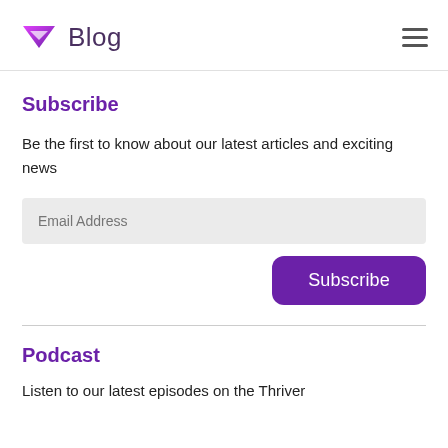Blog
Subscribe
Be the first to know about our latest articles and exciting news
Email Address
Subscribe
Podcast
Listen to our latest episodes on the Thriver